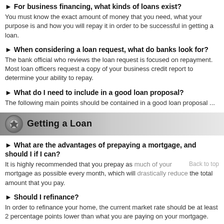► For business financing, what kinds of loans exist?
You must know the exact amount of money that you need, what your purpose is and how you will repay it in order to be successful in getting a loan.
► When considering a loan request, what do banks look for?
The bank official who reviews the loan request is focused on repayment. Most loan officers request a copy of your business credit report to determine your ability to repay.
► What do I need to include in a good loan proposal?
The following main points should be contained in a good loan proposal ...
Getting a Loan
► What are the advantages of prepaying a mortgage, and should I if I can?
It is highly recommended that you prepay as much of your mortgage as possible every month, which will drastically reduce the total amount that you pay.
► Should I refinance?
In order to refinance your home, the current market rate should be at least 2 percentage points lower than what you are paying on your mortgage.
► Does borrowing against my securities make sense?
This could be a low-cost option for borrowing but there is some risk involved.